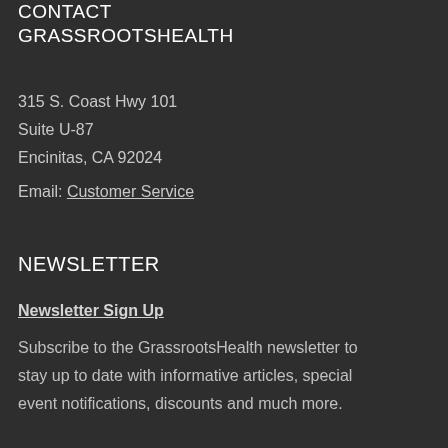CONTACT GRASSROOTSHEALTH
315 S. Coast Hwy 101
Suite U-87
Encinitas, CA 92024
Email: Customer Service
NEWSLETTER
Newsletter Sign Up
Subscribe to the GrassrootsHealth newsletter to stay up to date with informative articles, special event notifications, discounts and much more.